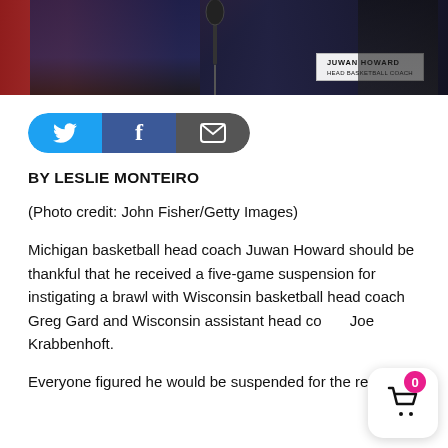[Figure (photo): Press conference photo showing Juwan Howard seated at a table with a nameplate reading 'JUWAN HOWARD'. Red background visible on the left, microphone in the center, another person partially visible on the right.]
[Figure (infographic): Social share buttons: Twitter (blue), Facebook (dark blue), Email (grey), arranged in a pill/capsule shape.]
BY LESLIE MONTEIRO
(Photo credit: John Fisher/Getty Images)
Michigan basketball head coach Juwan Howard should be thankful that he received a five-game suspension for instigating a brawl with Wisconsin basketball head coach Greg Gard and Wisconsin assistant head coach Joe Krabbenhoft.
Everyone figured he would be suspended for the regular